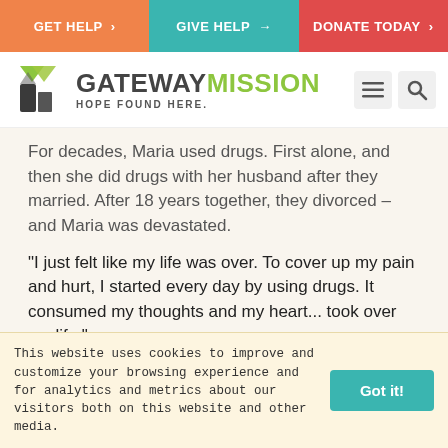GET HELP > | GIVE HELP → | DONATE TODAY >
[Figure (logo): Gateway Mission logo with stylized arrow/building icon, text 'GATEWAY MISSION' and tagline 'HOPE FOUND HERE.' with hamburger menu and search icons]
For decades, Maria used drugs. First alone, and then she did drugs with her husband after they married. After 18 years together, they divorced – and Maria was devastated.
"I just felt like my life was over. To cover up my pain and hurt, I started every day by using drugs. It consumed my thoughts and my heart... took over my life."
It got so bad that Maria was stealing from stores and even her own kids to get money to support her
This website uses cookies to improve and customize your browsing experience and for analytics and metrics about our visitors both on this website and other media.